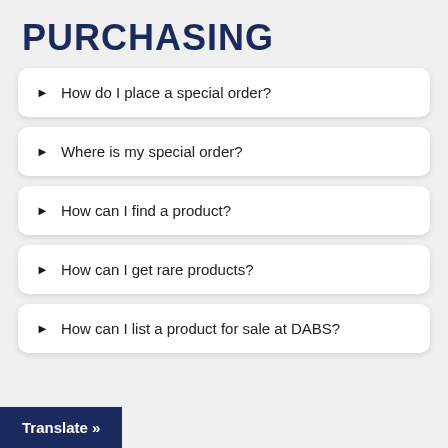PURCHASING
How do I place a special order?
Where is my special order?
How can I find a product?
How can I get rare products?
How can I list a product for sale at DABS?
Translate »